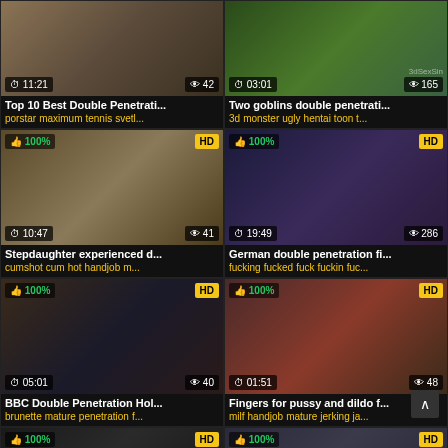[Figure (screenshot): Video thumbnail grid - adult video site listing page with 8 video cards in 2 columns]
Top 10 Best Double Penetrati... | porstar maximum tennis svetl...
Two goblins double penetrati... | 3d monster ugly hentai toon t...
Stepdaughter experienced d... | cumshot cum hot handjob m...
German double penetration fi... | fucking fucked fuck fuckin fuc...
BBC Double Penetration Hol... | brunette mature penetration f...
Fingers for pussy and dildo f... | milf handjob mature jerking ja...